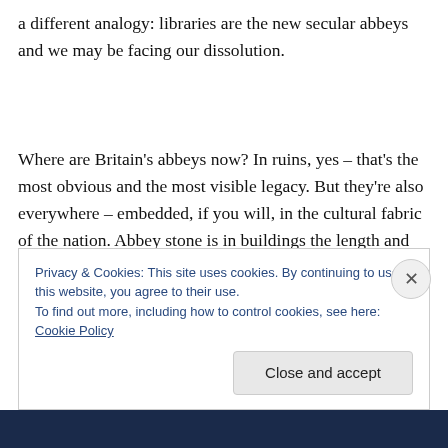a different analogy: libraries are the new secular abbeys and we may be facing our dissolution.
Where are Britain's abbeys now? In ruins, yes – that's the most obvious and the most visible legacy. But they're also everywhere – embedded, if you will, in the cultural fabric of the nation. Abbey stone is in buildings the length and breadth of the country. Abbey treasures are in museums
Privacy & Cookies: This site uses cookies. By continuing to use this website, you agree to their use.
To find out more, including how to control cookies, see here: Cookie Policy